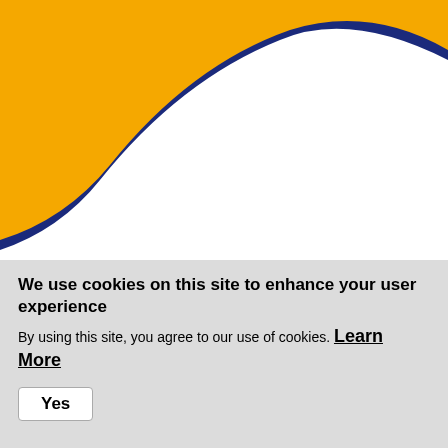[Figure (illustration): Decorative wave graphic with dark navy blue background at top-left corner and a large golden/amber yellow wave shape sweeping across the top portion of the page, fading to white background below.]
028 90 288585
93 Stockmans Lane.
We use cookies on this site to enhance your user experience
By using this site, you agree to our use of cookies. Learn More
Yes